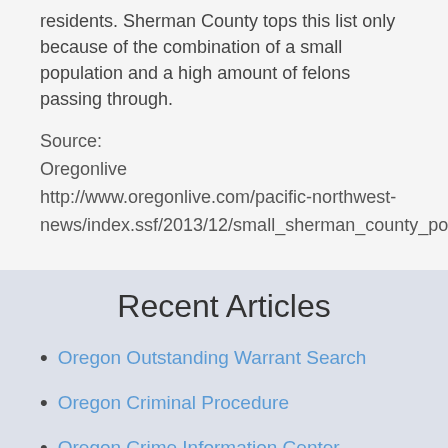residents. Sherman County tops this list only because of the combination of a small population and a high amount of felons passing through.
Source:
Oregonlive
http://www.oregonlive.com/pacific-northwest-news/index.ssf/2013/12/small_sherman_county_posts_ore.html
Recent Articles
Oregon Outstanding Warrant Search
Oregon Criminal Procedure
Oregon Crime Information Center